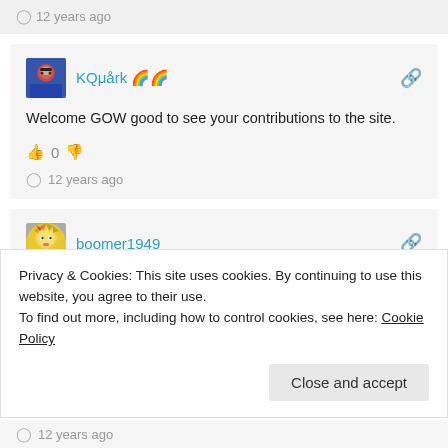12 years ago
KQμårk 🌈🌈
Welcome GOW good to see your contributions to the site.
👍 0 👎
12 years ago
boomer1949
Privacy & Cookies: This site uses cookies. By continuing to use this website, you agree to their use.
To find out more, including how to control cookies, see here: Cookie Policy
Close and accept
12 years ago